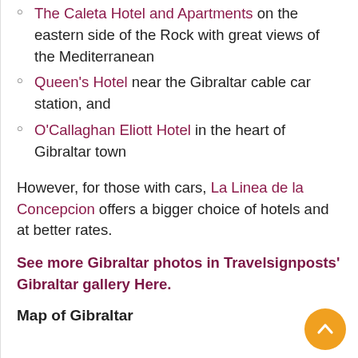The Caleta Hotel and Apartments on the eastern side of the Rock with great views of the Mediterranean
Queen's Hotel near the Gibraltar cable car station, and
O'Callaghan Eliott Hotel in the heart of Gibraltar town
However, for those with cars, La Linea de la Concepcion offers a bigger choice of hotels and at better rates.
See more Gibraltar photos in Travelsignposts' Gibraltar gallery Here.
Map of Gibraltar